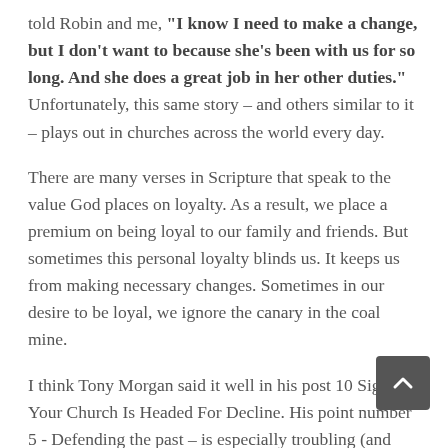told Robin and me, "I know I need to make a change, but I don't want to because she's been with us for so long.  And she does a great job in her other duties."  Unfortunately, this same story – and others similar to it – plays out in churches across the world every day.
There are many verses in Scripture that speak to the value God places on loyalty.  As a result, we place a premium on being loyal to our family and friends.  But sometimes this personal loyalty blinds us.  It keeps us from making necessary changes.  Sometimes in our desire to be loyal, we ignore the canary in the coal mine.
I think Tony Morgan said it well in his post 10 Signs Your Church Is Headed For Decline.  His point number 5 - Defending the past – is especially troubling (and